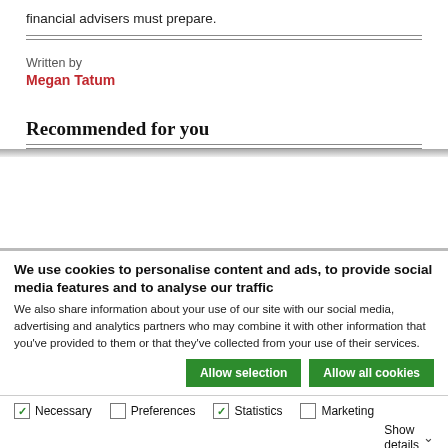financial advisers must prepare.
Written by
Megan Tatum
Recommended for you
We use cookies to personalise content and ads, to provide social media features and to analyse our traffic
We also share information about your use of our site with our social media, advertising and analytics partners who may combine it with other information that you've provided to them or that they've collected from your use of their services.
Allow selection | Allow all cookies
Necessary | Preferences | Statistics | Marketing | Show details